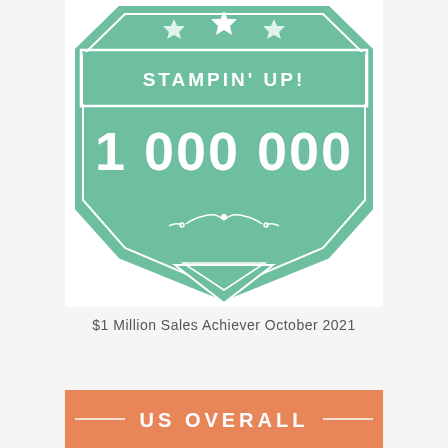[Figure (illustration): Stampin' Up! 1 000 000 achievement badge in mint/teal green color with stars at top, decorative border, and chevron/diamond shape at bottom with ornamental flourish]
$1 Million Sales Achiever October 2021
[Figure (illustration): Orange banner with text 'US OVERALL' with decorative horizontal lines on left and right sides]